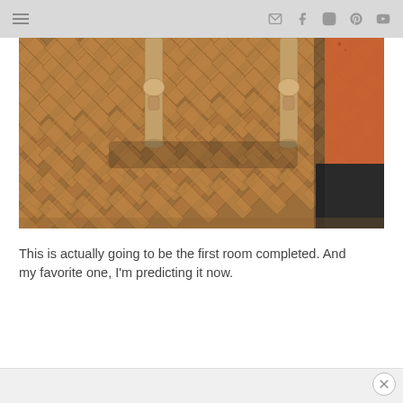Navigation bar with hamburger menu and social icons (email, facebook, instagram, pinterest, youtube)
[Figure (photo): Close-up photo of a herringbone brick floor with two painted wooden table legs visible. In the right background, an orange-painted wall meets a dark baseboard. The bricks are reddish-brown in a herringbone pattern.]
This is actually going to be the first room completed. And my favorite one, I'm predicting it now.
Advertisement close button